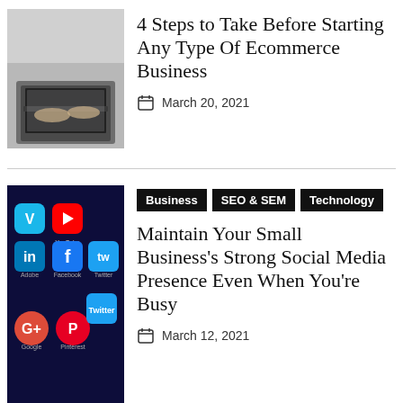[Figure (photo): Person typing on a laptop, top-down view, partial image]
4 Steps to Take Before Starting Any Type Of Ecommerce Business
March 20, 2021
[Figure (photo): Smartphone screen showing social media app icons including Vimeo, YouTube, LinkedIn, Facebook, Google+, Pinterest, Twitter]
Business   SEO & SEM   Technology
Maintain Your Small Business's Strong Social Media Presence Even When You're Busy
March 12, 2021